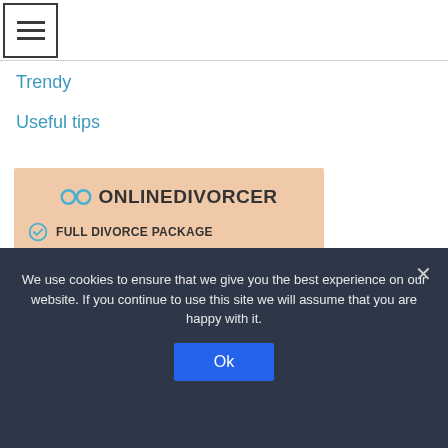[Figure (logo): Hamburger menu button icon (three horizontal lines) in a square border]
Trendy
Useful tips
[Figure (infographic): OnlineDivorcer advertisement on peach/salmon background. Logo with infinity icon and text ONLINEDIVORCER. Checklist items: FULL DIVORCE PACKAGE, NO LAWYERS NEEDED, WORKS W & W/O CHILDREN]
We use cookies to ensure that we give you the best experience on our website. If you continue to use this site we will assume that you are happy with it.
Ok